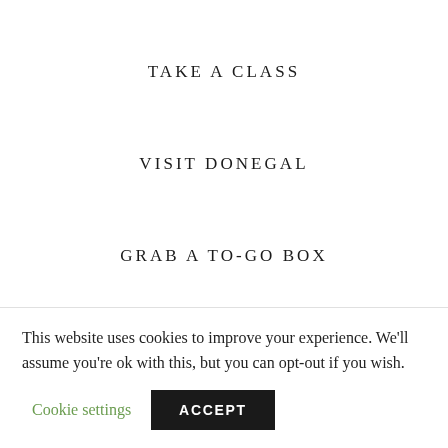TAKE A CLASS
VISIT DONEGAL
GRAB A TO-GO BOX
SEE EVENTS
This website uses cookies to improve your experience. We'll assume you're ok with this, but you can opt-out if you wish.
Cookie settings  ACCEPT